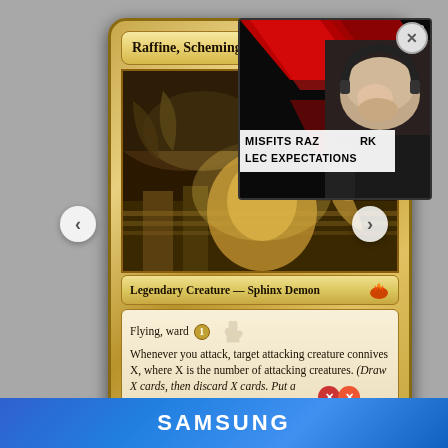[Figure (screenshot): Magic: The Gathering card 'Raffine, Scheming Seer' displayed on screen with a streamer webcam overlay showing 'MISFITS RAZORK LEC EXPECTATIONS' text, and a Samsung advertisement banner at the bottom.]
Raffine, Scheming Seer
Legendary Creature — Sphinx Demon
Flying, ward 1
Whenever you attack, target attacking creature connives X, where X is the number of attacking creatures. (Draw X cards, then discard X cards. Put a
MISFITS RAZORK LEC EXPECTATIONS
SAMSUNG